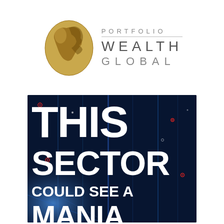[Figure (logo): Portfolio Wealth Global logo: golden globe on the left, text 'PORTFOLIO WEALTH GLOBAL' on the right in spaced uppercase letters with a horizontal rule separating PORTFOLIO from WEALTH GLOBAL]
[Figure (illustration): Dark blue promotional banner image with large white bold text reading 'THIS SECTOR COULD SEE A MANIA' on a dark tech/digital background with glowing blue light streaks and scattered red and white circular dots]